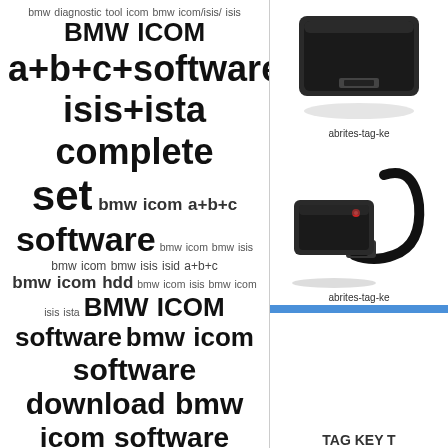[Figure (infographic): Tag cloud with BMW diagnostic tool related keywords in varying sizes: bmw diagnostic tool icom bmw icom/isis/ isis BMW ICOM A+B+C+SOFTWARE ISIS+ISTA COMPLETE SET bmw icom a+b+c software bmw icom bmw isis bmw icom bmw isis isid a+b+c bmw icom hdd bmw icom isis bmw icom isis ista BMW ICOM SOFTWARE bmw icom software download BMW ICOM SOFTWARE DOWNLOAD FREE BMW ICOM WITH SOFTWARE bmw isis icom a+b+c-forum launch x431 auto diagnostic scanner launch x431 master auto diagnostic scanner kit mercedes benz mb compact 4 star c4 diagnosis sd connect multi-cardiag m8 multi-cardiag m8 cdp multi-cardiag m8 cdp pro una-usb]
[Figure (photo): Black automotive diagnostic device (top product photo)]
abrites-tag-ke
[Figure (photo): Black automotive diagnostic device with cable (second product photo)]
abrites-tag-ke
TAG KEY T